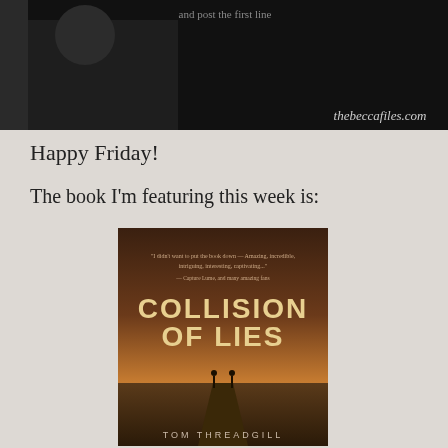[Figure (photo): Banner image showing a dark background with text 'and post the first line' and URL 'thebeccafiles.com' in bottom right corner]
Happy Friday!
The book I'm featuring this week is:
[Figure (photo): Book cover of 'Collision of Lies' by Tom Threadgill, featuring warm reddish-brown tones with two figures on a road at dusk and text including a review quote at top]